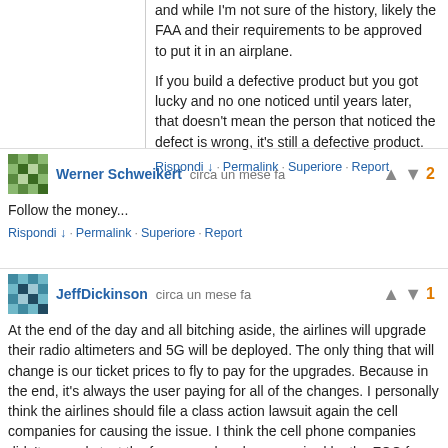and while I'm not sure of the history, likely the FAA and their requirements to be approved to put it in an airplane.

If you build a defective product but you got lucky and no one noticed until years later, that doesn't mean the person that noticed the defect is wrong, it's still a defective product.
Rispondi ↓  ·  Permalink  ·  Superiore  ·  Report
Werner Schweikert  circa un mese fa
Follow the money...
Rispondi ↓  ·  Permalink  ·  Superiore  ·  Report
Votes: 2
JeffDickinson  circa un mese fa
At the end of the day and all bitching aside, the airlines will upgrade their radio altimeters and 5G will be deployed. The only thing that will change is our ticket prices to fly to pay for the upgrades. Because in the end, it's always the user paying for all of the changes. I personally think the airlines should file a class action lawsuit again the cell companies for causing the issue. I think the cell phone companies didn't properly test the frequency bands as required by the FCC for the license approval and the FCC wasn't knowledgeable enough to know it would affect radio altimeters build before 1990. That system has been on aircraft since the 60's. Same basic system was used on Apollo to land on the moon.
Votes: 1